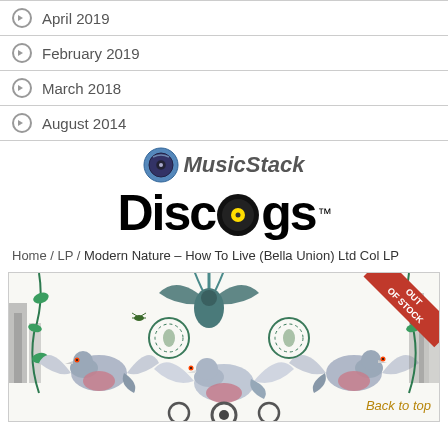April 2019
February 2019
March 2018
August 2014
[Figure (logo): MusicStack logo with vinyl disc icon]
[Figure (logo): Discogs logo in bold black text with vinyl record replacing the 'o', TM superscript]
Home / LP / Modern Nature – How To Live (Bella Union) Ltd Col LP
[Figure (photo): Album cover art for Modern Nature – How To Live, featuring colorful birds and foliage illustration on white background, with OUT OF STOCK red diagonal banner in top-right corner and Back to top link at bottom-right]